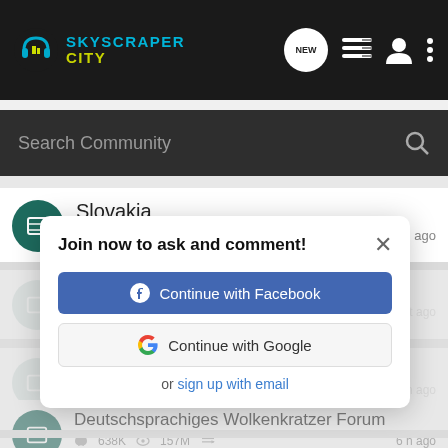SKYSCRAPER CITY
Search Community
Slovakia 509K 126M 7 25 m ago
Foro de... 4.7M 636M a moment ago
Fórum Portugu... 1.7M 265M 2 h ago
[Figure (screenshot): Join now modal with Facebook and Google sign-in options]
Join now to ask and comment!
Continue with Facebook
Continue with Google
or sign up with email
Deutschsprachiges Wolkenkratzer Forum 638K 157M 6 h ago